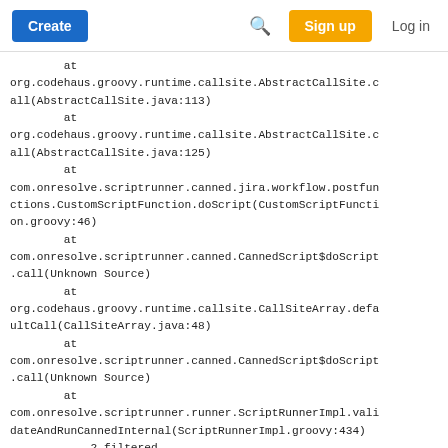Create  [search]  Sign up  Log in
at
org.codehaus.groovy.runtime.callsite.AbstractCallSite.call(AbstractCallSite.java:113)
        at
org.codehaus.groovy.runtime.callsite.AbstractCallSite.call(AbstractCallSite.java:125)
        at
com.onresolve.scriptrunner.canned.jira.workflow.postfunctions.CustomScriptFunction.doScript(CustomScriptFunction.groovy:46)
        at
com.onresolve.scriptrunner.canned.CannedScript$doScript.call(Unknown Source)
        at
org.codehaus.groovy.runtime.callsite.CallSiteArray.defaultCall(CallSiteArray.java:48)
        at
com.onresolve.scriptrunner.canned.CannedScript$doScript.call(Unknown Source)
        at
com.onresolve.scriptrunner.runner.ScriptRunnerImpl.validateAndRunCannedInternal(ScriptRunnerImpl.groovy:434)
        ... 2 filtered
        at